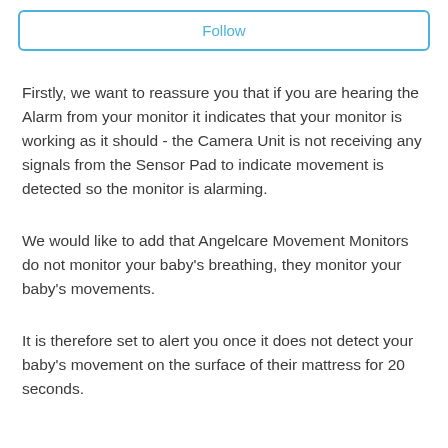Follow
Firstly, we want to reassure you that if you are hearing the Alarm from your monitor it indicates that your monitor is working as it should - the Camera Unit is not receiving any signals from the Sensor Pad to indicate movement is detected so the monitor is alarming.
We would like to add that Angelcare Movement Monitors do not monitor your baby's breathing, they monitor your baby's movements.
It is therefore set to alert you once it does not detect your baby's movement on the surface of their mattress for 20 seconds.